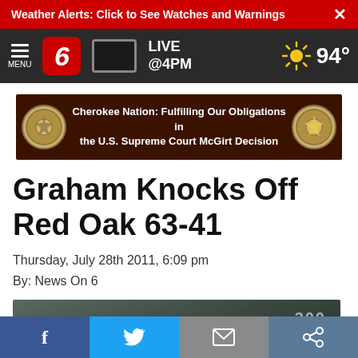Weather Alerts: Click to See Watches and Warnings  ×
[Figure (screenshot): News On 6 navigation bar with hamburger menu icon, red '6' logo, TV/live icon, LIVE @4PM text, and sunny 94° weather widget]
[Figure (illustration): Cherokee Nation advertisement banner: 'Cherokee Nation: Fulfilling Our Obligations in the U.S. Supreme Court McGirt Decision' with two Cherokee Nation seals on dark brown background]
Graham Knocks Off Red Oak 63-41
Thursday, July 28th 2011, 6:09 pm
By: News On 6
[Figure (photo): Partial photo of a scoreboard or sports venue, dark greenish background with '300' visible]
f  [Twitter bird]  [Mail]  [Link]